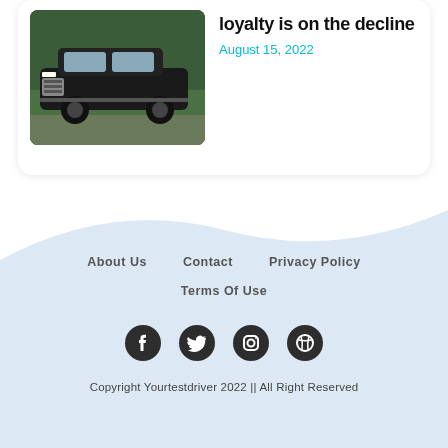[Figure (photo): Black Lincoln Navigator SUV parked outdoors with greenery in background]
loyalty is on the decline
August 15, 2022
About Us   Contact   Privacy Policy   Terms Of Use
[Figure (logo): Social media icons: Facebook, Twitter, Instagram, Dribbble]
Copyright Yourtestdriver 2022 || All Right Reserved